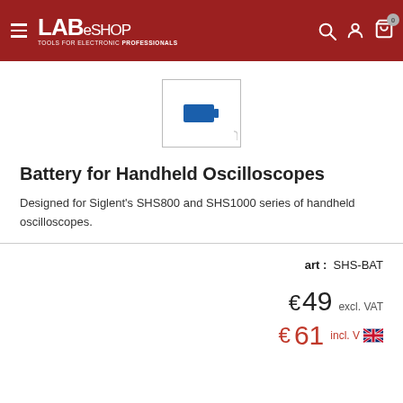LABeSHOP — Tools for Electronic Professionals
[Figure (photo): Product thumbnail image of a battery inside a white box with gray border — a small blue rectangular shape on white background]
Battery for Handheld Oscilloscopes
Designed for Siglent's SHS800 and SHS1000 series of handheld oscilloscopes.
art : SHS-BAT
€ 49 excl. VAT
€ 61 incl. VAT